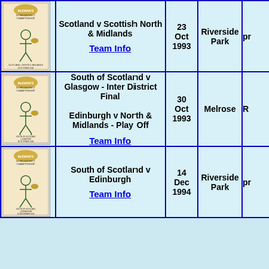| Programme | Match | Date | Venue |  |
| --- | --- | --- | --- | --- |
| [image] | Scotland v Scottish North & Midlands
Team Info | 23 Oct 1993 | Riverside Park | pr... |
| [image] | South of Scotland v Glasgow - Inter District Final
Edinburgh v North & Midlands - Play Off
Team Info | 30 Oct 1993 | Melrose | R... |
| [image] | South of Scotland v Edinburgh
Team Info | 14 Dec 1994 | Riverside Park | pr... |